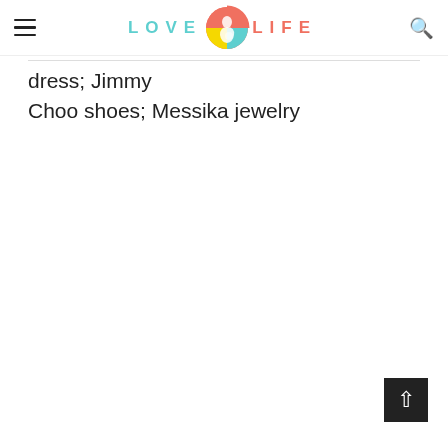LOVE LIFE (logo with icon)
…dress; Jimmy Choo shoes; Messika jewelry